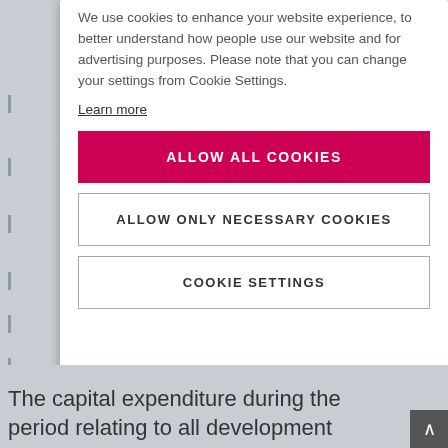We use cookies to enhance your website experience, to better understand how people use our website and for advertising purposes. Please note that you can change your settings from Cookie Settings.
Learn more
ALLOW ALL COOKIES
ALLOW ONLY NECESSARY COOKIES
COOKIE SETTINGS
The capital expenditure during the period relating to all development